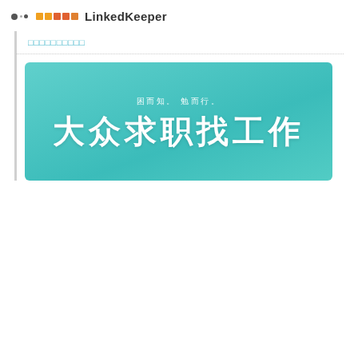□□□□□ LinkedKeeper
□□□□□□□□□□
[Figure (illustration): Teal/turquoise banner image with Chinese text. Subtitle reads '困而知。勉而行。' and large bold Chinese characters below partially visible.]